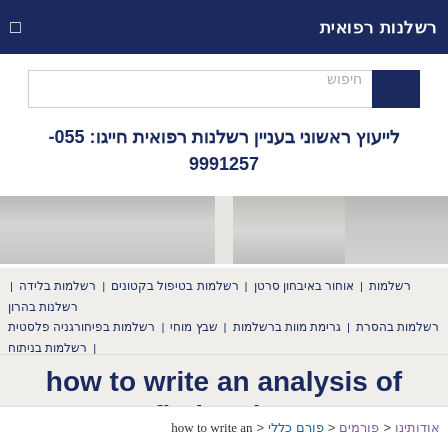רשלנות רפואית
חיפוש
לייעוץ ראשוני בעניין רשלנות רפואית חייגו: 055-9991257
[Figure (photo): Blurred banner image with muted gray-beige tones]
רשלנות בהרון | אוחור באיבחון סרטן | רשלמות בטיפול בקטונים | רשלמות בלידה | רשלמות רשלמות בניתוח | רשלמות בפיחורגניה פלסטית | שבץ מוחי | גרימת מוות ברשלמות | רשלמות בהסרת משקפיים בליקר | פעמח שמי של בדיקות הדמיה | רשלמות בברית מילה
how to write an analysis of a fictional text
אודותינו < פורמים < פורם כללי < how to write an